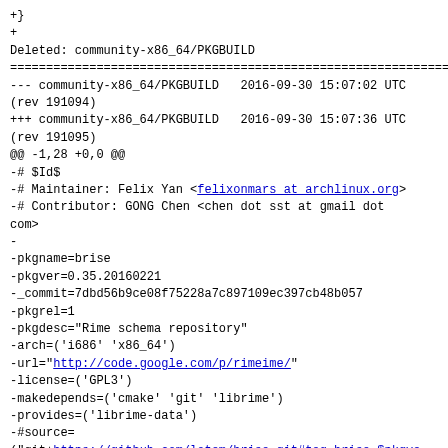+}
+
Deleted: community-x86_64/PKGBUILD
================================================================
--- community-x86_64/PKGBUILD   2016-09-30 15:07:02 UTC (rev 191094)
+++ community-x86_64/PKGBUILD   2016-09-30 15:07:36 UTC (rev 191095)
@@ -1,28 +0,0 @@
-# $Id$
-# Maintainer: Felix Yan <felixonmars at archlinux.org>
-# Contributor: GONG Chen <chen dot sst at gmail dot com>
-
-pkgname=brise
-pkgver=0.35.20160221
-_commit=7dbd56b9ce08f75228a7c897109ec397cb48b057
-pkgrel=1
-pkgdesc="Rime schema repository"
-arch=('i686' 'x86_64')
-url="http://code.google.com/p/rimeime/"
-license=('GPL3')
-makedepends=('cmake' 'git' 'librime')
-provides=('librime-data')
-#source=
("git+https://github.com/lotem/brise.git#tag=brise-$pkgve
-source=
("git+https://github.com/lotem/brise.git#commit=$_commit"
-sha512sums=('SKIP')